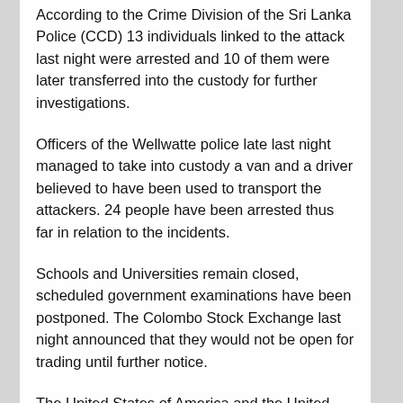According to the Crime Division of the Sri Lanka Police (CCD) 13 individuals linked to the attack last night were arrested and 10 of them were later transferred into the custody for further investigations.
Officers of the Wellwatte police late last night managed to take into custody a van and a driver believed to have been used to transport the attackers. 24 people have been arrested thus far in relation to the incidents.
Schools and Universities remain closed, scheduled government examinations have been postponed. The Colombo Stock Exchange last night announced that they would not be open for trading until further notice.
The United States of America and the United Kingdom have issued travel advisories for Sri Lanka.
In the meantime, curfews and social media and instant massage shut down are in effect in Sri Lanka.